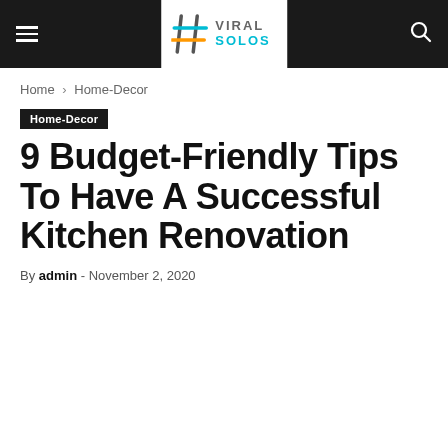Viral Solos — navigation bar with hamburger menu, logo, and search icon
Home › Home-Decor
Home-Decor
9 Budget-Friendly Tips To Have A Successful Kitchen Renovation
By admin - November 2, 2020